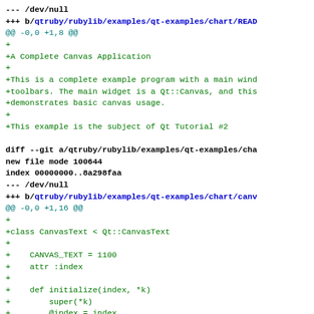--- /dev/null
+++ b/qtruby/rubylib/examples/qt-examples/chart/READ
@@ -0,0 +1,8 @@
+
+A Complete Canvas Application
+
+This is a complete example program with a main wind
+toolbars. The main widget is a Qt::Canvas, and this
+demonstrates basic canvas usage.
+
+This example is the subject of Qt Tutorial #2

diff --git a/qtruby/rubylib/examples/qt-examples/cha
new file mode 100644
index 00000000..8a298faa
--- /dev/null
+++ b/qtruby/rubylib/examples/qt-examples/chart/canv
@@ -0,0 +1,16 @@
+
+class CanvasText < Qt::CanvasText
+
+    CANVAS_TEXT = 1100
+    attr :index
+
+    def initialize(index, *k)
+        super(*k)
+        @index = index
+    end
+
+    def rtti() return CANVAS_TEXT end
+